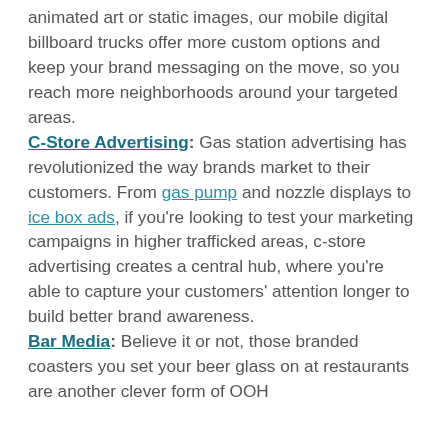animated art or static images, our mobile digital billboard trucks offer more custom options and keep your brand messaging on the move, so you reach more neighborhoods around your targeted areas. C-Store Advertising: Gas station advertising has revolutionized the way brands market to their customers. From gas pump and nozzle displays to ice box ads, if you're looking to test your marketing campaigns in higher trafficked areas, c-store advertising creates a central hub, where you're able to capture your customers' attention longer to build better brand awareness. Bar Media: Believe it or not, those branded coasters you set your beer glass on at restaurants are another clever form of OOH